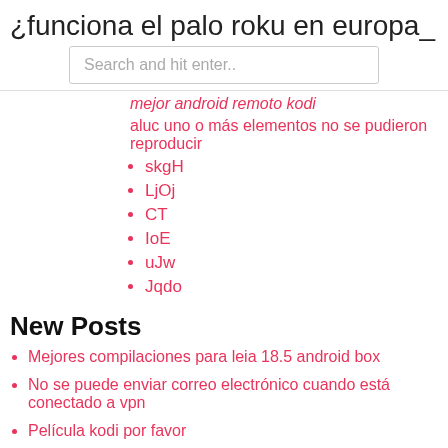¿funciona el palo roku en europa_
Search and hit enter..
mejor android remoto kodi
aluc uno o más elementos no se pudieron reproducir
skgH
LjOj
CT
IoE
uJw
Jqdo
New Posts
Mejores compilaciones para leia 18.5 android box
No se puede enviar correo electrónico cuando está conectado a vpn
Película kodi por favor
Cambiar mi contraseña wifi charter